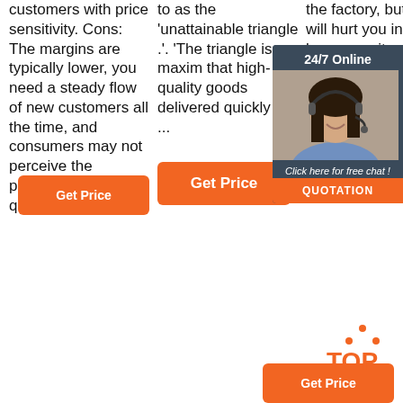customers with price sensitivity. Cons: The margins are typically lower, you need a steady flow of new customers all the time, and consumers may not perceive the products to be high quality.
to as the 'unattainable triangle .'. 'The triangle is a maxim that high-quality goods delivered quickly and ...
[Figure (other): Orange 'Get Price' button]
the factory, but that will hurt you in the long run – it can damage relationships with vendors, resulting in product costs for future ... factory tries to recoup its losses.
[Figure (other): 24/7 Online chat widget with woman wearing headset, 'Click here for free chat!' text and QUOTATION button]
[Figure (logo): TOP logo with orange dots forming a triangle above the word TOP in orange]
[Figure (other): Orange button bottom left]
[Figure (other): Orange button bottom right]